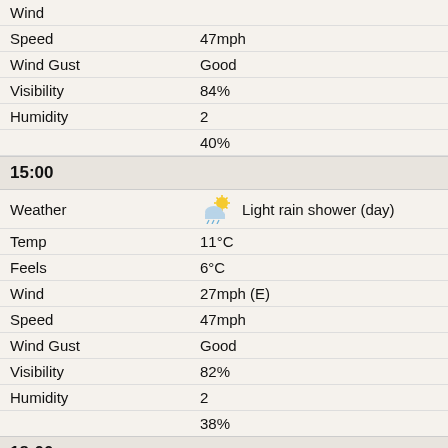| Field | Value |
| --- | --- |
| Wind |  |
| Speed | 47mph |
| Wind Gust | Good |
| Visibility | 84% |
| Humidity | 2 |
|  | 40% |
15:00
| Field | Value |
| --- | --- |
| Weather | Light rain shower (day) |
| Temp | 11°C |
| Feels | 6°C |
| Wind | 27mph (E) |
| Speed | 47mph |
| Wind Gust | Good |
| Visibility | 82% |
| Humidity | 2 |
|  | 38% |
18:00
| Field | Value |
| --- | --- |
| Weather | Cloudy (Medium-Level) |
| Temp | 9°C |
| Feels | 5°C |
| Wind | 27mph (E) |
| Speed | 47mph |
| Wind Gust | Good |
| Visibility | 89% |
| Humidity | 1 |